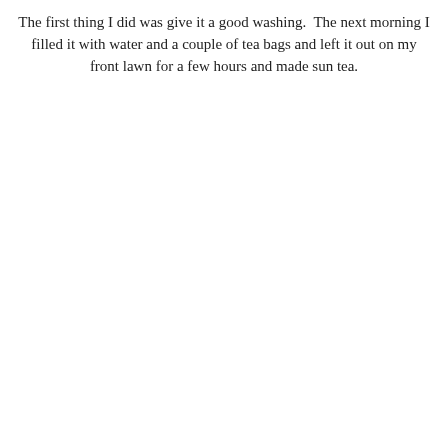The first thing I did was give it a good washing.  The next morning I filled it with water and a couple of tea bags and left it out on my front lawn for a few hours and made sun tea.
[Figure (photo): A patriotic glass beverage dispenser jar with red lid, red and white stripe design, and blue band with white stars, sitting on a kitchen counter next to a blue pot with plants, with a black stove in the background. Watermark reads 'My Casa'.]
I don't know what I enjoyed better,
the refreshing sun tea or using my cool patriotic vintage jar...
(thinking, thinking, thinking)
...Still can't decide.
;)
[Figure (photo): Partial view of a kitchen scene showing the top of a red-lidded jar and a black stove with knobs in the background.]